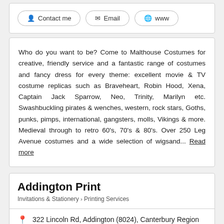Contact me | Email | www
Who do you want to be? Come to Malthouse Costumes for creative, friendly service and a fantastic range of costumes and fancy dress for every theme: excellent movie & TV costume replicas such as Braveheart, Robin Hood, Xena, Captain Jack Sparrow, Neo, Trinity, Marilyn etc. Swashbuckling pirates & wenches, western, rock stars, Goths, punks, pimps, international, gangsters, molls, Vikings & more. Medieval through to retro 60's, 70's & 80's. Over 250 Leg Avenue costumes and a wide selection of wigsand... Read more
Addington Print
Invitations & Stationery › Printing Services
322 Lincoln Rd, Addington (8024), Canterbury Region
Ideal for Parties, Weddings
Contact me | Email | www